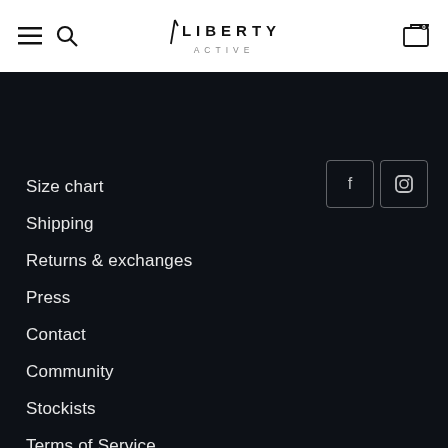[Figure (logo): Liberty Active logo with stylized slash mark above the text LIBERTY ACTIVE]
Size chart
Shipping
Returns & exchanges
Press
Contact
Community
Stockists
Terms of Service
Refund policy